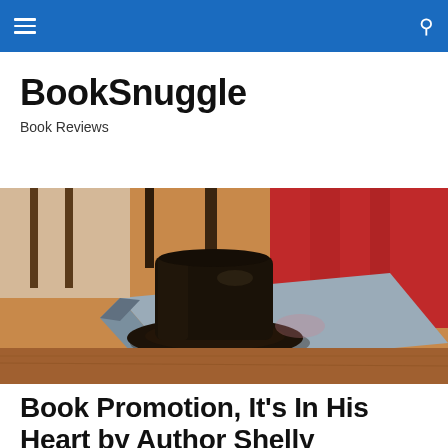BookSnuggle — navigation bar
BookSnuggle
Book Reviews
[Figure (photo): A dark brown cowboy hat resting on top of a book, placed on a wooden surface. A red textured blanket or garment is visible in the background.]
Book Promotion, It's In His Heart by Author Shelly